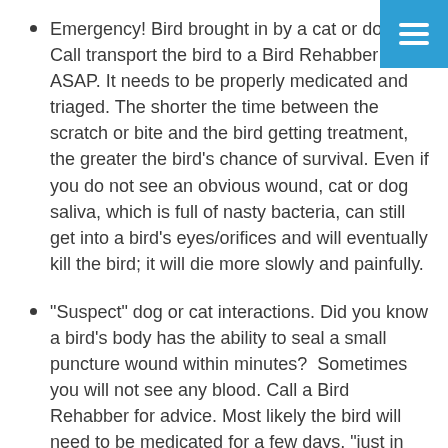Emergency! Bird brought in by a cat or dog. Call transport the bird to a Bird Rehabber ASAP. It needs to be properly medicated and triaged. The shorter the time between the scratch or bite and the bird getting treatment, the greater the bird’s chance of survival. Even if you do not see an obvious wound, cat or dog saliva, which is full of nasty bacteria, can still get into a bird’s eyes/orifices and will eventually kill the bird; it will die more slowly and painfully.
“Suspect” dog or cat interactions. Did you know a bird’s body has the ability to seal a small puncture wound within minutes?  Sometimes you will not see any blood. Call a Bird Rehabber for advice. Most likely the bird will need to be medicated for a few days, “just in case.”
Ok, so you rescued a bird. Yes, you will need to call